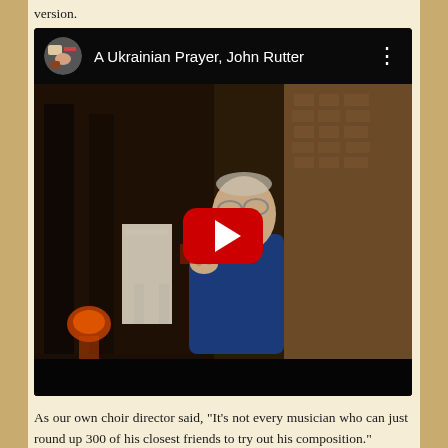version.
[Figure (screenshot): YouTube video embed showing 'A Ukrainian Prayer, John Rutter' with a thumbnail of an elderly man conducting in a church, and a red play button in the center.]
As our own choir director said, "It's not every musician who can just round up 300 of his closest friends to try out his composition."